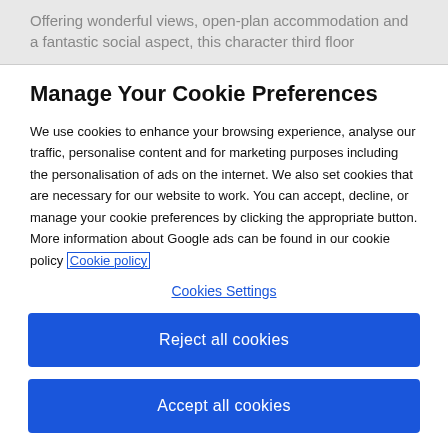Offering wonderful views, open-plan accommodation and a fantastic social aspect, this character third floor
Manage Your Cookie Preferences
We use cookies to enhance your browsing experience, analyse our traffic, personalise content and for marketing purposes including the personalisation of ads on the internet. We also set cookies that are necessary for our website to work. You can accept, decline, or manage your cookie preferences by clicking the appropriate button. More information about Google ads can be found in our cookie policy Cookie policy
Cookies Settings
Reject all cookies
Accept all cookies